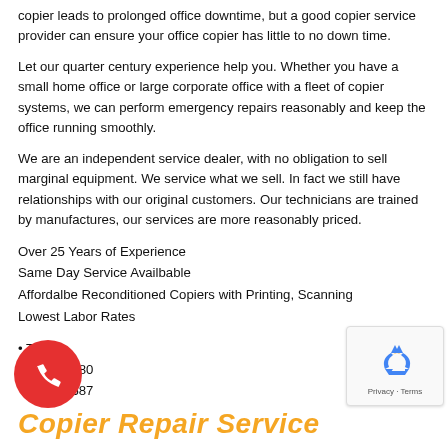copier leads to prolonged office downtime, but a good copier service provider can ensure your office copier has little to no down time.
Let our quarter century experience help you. Whether you have a small home office or large corporate office with a fleet of copier systems, we can perform emergency repairs reasonably and keep the office running smoothly.
We are an independent service dealer, with no obligation to sell marginal equipment. We service what we sell. In fact we still have relationships with our original customers. Our technicians are trained by manufactures, our services are more reasonably priced.
Over 25 Years of Experience
Same Day Service Availbable
Affordalbe Reconditioned Copiers with Printing, Scanning
Lowest Labor Rates
• TEL:
1-960-8480
0-231-3687
[Figure (illustration): Red circular phone call button with white phone handset icon]
[Figure (logo): Google reCAPTCHA badge with recycling arrows logo and Privacy - Terms text]